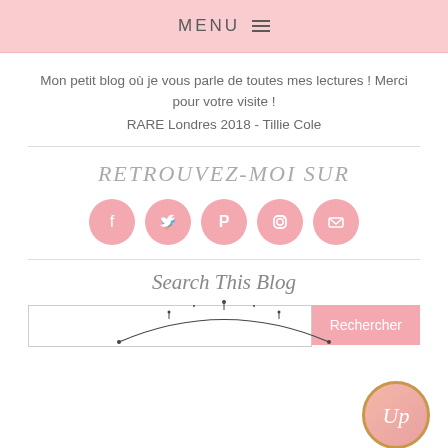MENU
Mon petit blog où je vous parle de toutes mes lectures ! Merci pour votre visite !
RARE Londres 2018 - Tillie Cole
RETROUVEZ-MOI SUR
[Figure (illustration): Five pink circular social media icons: Facebook, Twitter, Pinterest, Instagram, Email]
Search This Blog
[Figure (other): Search input field with pink Rechercher button]
[Figure (logo): Round badge with cursive 'Up' text, gold border, pink gradient background]
[Figure (illustration): Decorative arc ornament at bottom of page]